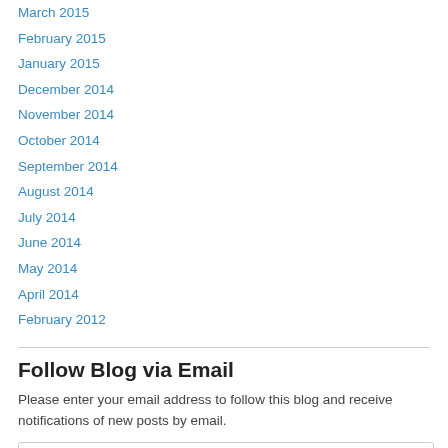March 2015
February 2015
January 2015
December 2014
November 2014
October 2014
September 2014
August 2014
July 2014
June 2014
May 2014
April 2014
February 2012
Follow Blog via Email
Please enter your email address to follow this blog and receive notifications of new posts by email.
Email Address